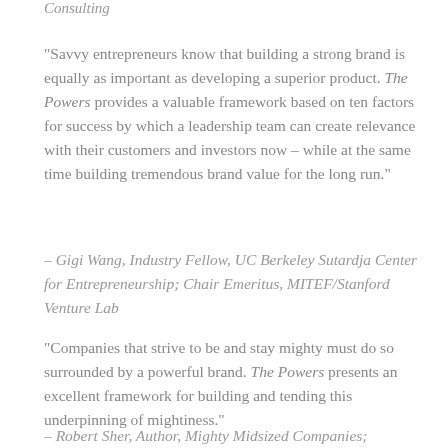Consulting
“Savvy entrepreneurs know that building a strong brand is equally as important as developing a superior product. The Powers provides a valuable framework based on ten factors for success by which a leadership team can create relevance with their customers and investors now – while at the same time building tremendous brand value for the long run.”
– Gigi Wang, Industry Fellow, UC Berkeley Sutardja Center for Entrepreneurship; Chair Emeritus, MITEF/Stanford Venture Lab
“Companies that strive to be and stay mighty must do so surrounded by a powerful brand. The Powers presents an excellent framework for building and tending this underpinning of mightiness.”
– Robert Sher, Author, Mighty Midsized Companies;